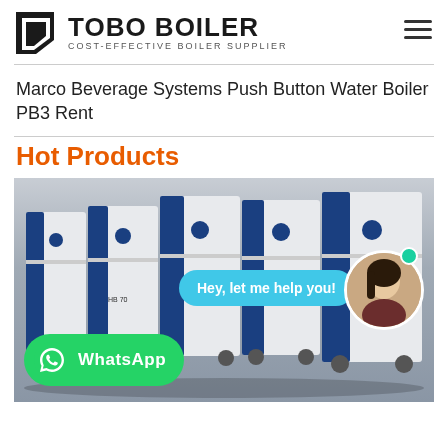TOBO BOILER COST-EFFECTIVE BOILER SUPPLIER
Marco Beverage Systems Push Button Water Boiler PB3 Rent
Hot Products
[Figure (photo): Photo of multiple blue and white industrial boiler units displayed in a showroom with a WhatsApp chat widget overlay showing 'Hey, let me help you!' and a WhatsApp button at the bottom left.]